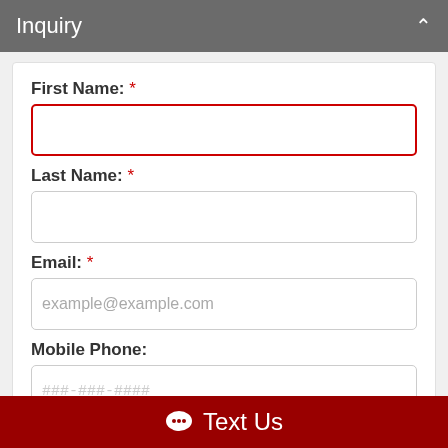Inquiry
First Name: *
Last Name: *
Email: *
example@example.com
Mobile Phone:
###-###-####
Home Phone:
###-###-####
Text Us